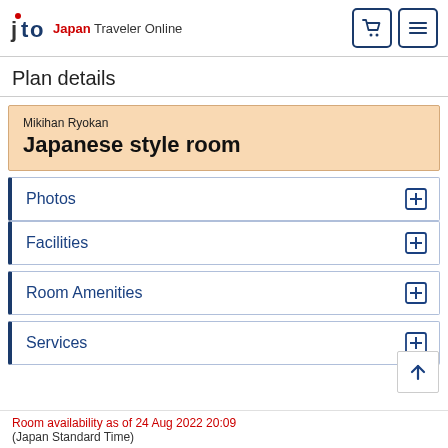jto Japan Traveler Online
Plan details
Mikihan Ryokan
Japanese style room
Photos
Facilities
Room Amenities
Services
Room availability as of 24 Aug 2022 20:09
(Japan Standard Time)